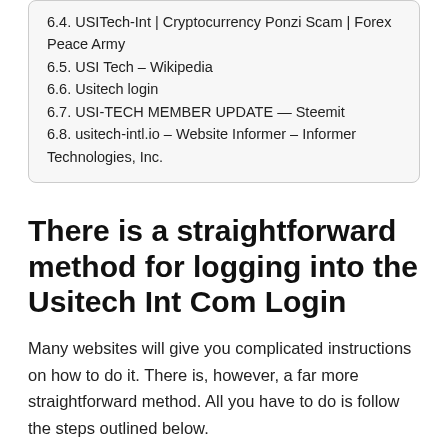6.4. USITech-Int | Cryptocurrency Ponzi Scam | Forex Peace Army
6.5. USI Tech – Wikipedia
6.6. Usitech login
6.7. USI-TECH MEMBER UPDATE — Steemit
6.8. usitech-intl.io – Website Informer – Informer Technologies, Inc.
There is a straightforward method for logging into the Usitech Int Com Login
Many websites will give you complicated instructions on how to do it. There is, however, a far more straightforward method. All you have to do is follow the steps outlined below.
Guide to Sign up for Usitech Int